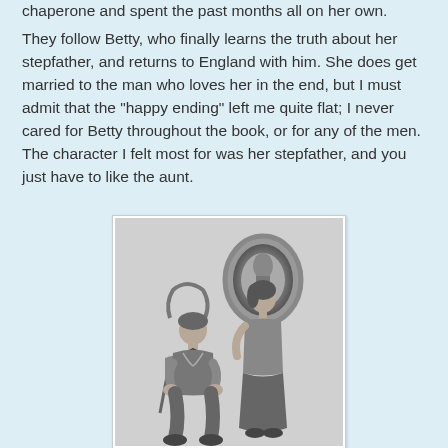chaperone and spent the past months all on her own.
They follow Betty, who finally learns the truth about her stepfather, and returns to England with him. She does get married to the man who loves her in the end, but I must admit that the "happy ending" left me quite flat; I never cared for Betty throughout the book, or for any of the men. The character I felt most for was her stepfather, and you just have to like the aunt.
[Figure (illustration): A grayscale pencil or charcoal illustration showing two figures in an interior scene. A man sits in a wicker or folding chair, looking upward, while a woman stands or leans beside him, looking down at him. In the background is a round mirror or porthole. The style suggests early 20th century book illustration.]